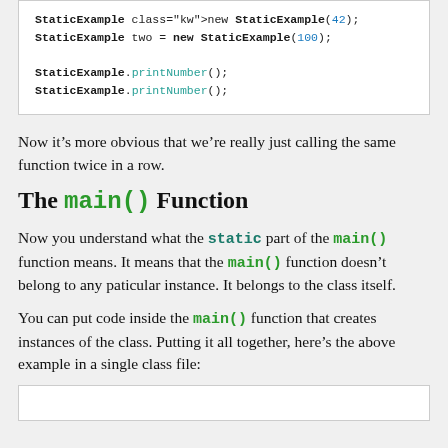[Figure (screenshot): Code block showing: StaticExample one = new StaticExample(42); StaticExample two = new StaticExample(100); StaticExample.printNumber(); StaticExample.printNumber();]
Now it’s more obvious that we’re really just calling the same function twice in a row.
The main() Function
Now you understand what the static part of the main() function means. It means that the main() function doesn’t belong to any paticular instance. It belongs to the class itself.
You can put code inside the main() function that creates instances of the class. Putting it all together, here’s the above example in a single class file:
[Figure (screenshot): Bottom of a code block (content cut off)]